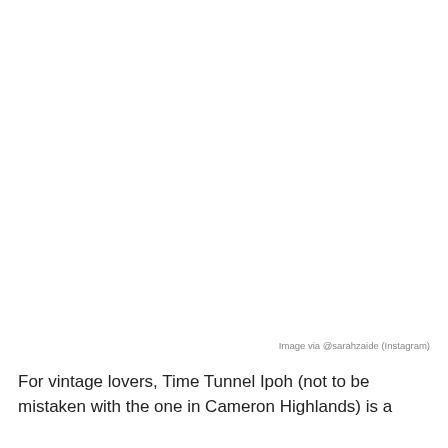[Figure (photo): Blank/white image area representing a photo placeholder for Time Tunnel Ipoh]
Image via @sarahzaide (Instagram)
For vintage lovers, Time Tunnel Ipoh (not to be mistaken with the one in Cameron Highlands) is a